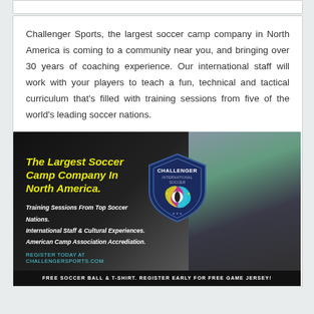Challenger Sports, the largest soccer camp company in North America is coming to a community near you, and bringing over 30 years of coaching experience. Our international staff will work with your players to teach a fun, technical and tactical curriculum that's filled with training sessions from five of the world's leading soccer nations.
[Figure (photo): Challenger International Soccer advertisement banner with dark background showing youth soccer players, the Challenger International Soccer shield logo, headline 'The Largest Soccer Camp Company In North America.', bullet points about training sessions, international staff, ACA accreditation, a register CTA, and footer text about free soccer ball and t-shirt.]